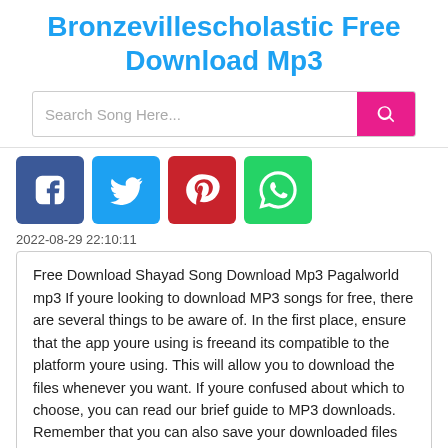Bronzevillescholastic Free Download Mp3
[Figure (other): Search bar with text 'Search Song Here...' and a pink search button with magnifying glass icon]
[Figure (other): Social media icons: Facebook (blue), Twitter (light blue), Pinterest (red), WhatsApp (green)]
2022-08-29 22:10:11
Free Download Shayad Song Download Mp3 Pagalworld mp3 If youre looking to download MP3 songs for free, there are several things to be aware of. In the first place, ensure that the app youre using is freeand its compatible to the platform youre using. This will allow you to download the files whenever you want. If youre confused about which to choose, you can read our brief guide to MP3 downloads. Remember that you can also save your downloaded files on your phone or PC.